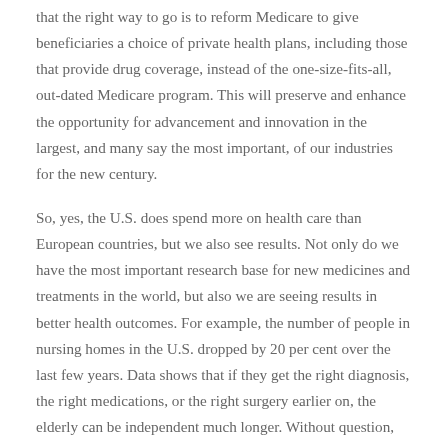that the right way to go is to reform Medicare to give beneficiaries a choice of private health plans, including those that provide drug coverage, instead of the one-size-fits-all, out-dated Medicare program. This will preserve and enhance the opportunity for advancement and innovation in the largest, and many say the most important, of our industries for the new century.
So, yes, the U.S. does spend more on health care than European countries, but we also see results. Not only do we have the most important research base for new medicines and treatments in the world, but also we are seeing results in better health outcomes. For example, the number of people in nursing homes in the U.S. dropped by 20 per cent over the last few years. Data shows that if they get the right diagnosis, the right medications, or the right surgery earlier on, the elderly can be independent much longer. Without question, more spending leads to more and better health